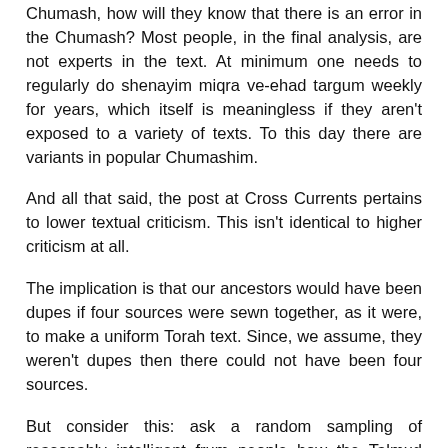Chumash, how will they know that there is an error in the Chumash? Most people, in the final analysis, are not experts in the text. At minimum one needs to regularly do shenayim miqra ve-ehad targum weekly for years, which itself is meaningless if they aren't exposed to a variety of texts. To this day there are variants in popular Chumashim.
And all that said, the post at Cross Currents pertains to lower textual criticism. This isn't identical to higher criticism at all.
The implication is that our ancestors would have been dupes if four sources were sewn together, as it were, to make a uniform Torah text. Since, we assume, they weren't dupes then there could not have been four sources.
But consider this: ask a random sampling of reasonably intelligent frum people how the Talmud came to be. Assuming you get any kind of answer at all, most will say "Rav Ashi and Ravina wrote it." Uh, did they? We don't know. In fact, we know they didn't write all of it, because persons named in the Talmud lived half a century after Ravina died. But that isn't the point. Let's say they did write it. Are people who say they wrote it dupes for thinking "Rav Ashi or...